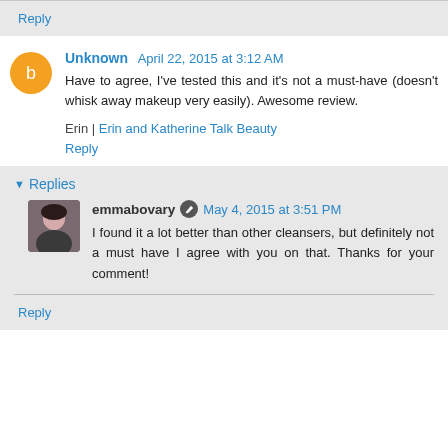Reply
Unknown April 22, 2015 at 3:12 AM
Have to agree, I've tested this and it's not a must-have (doesn't whisk away makeup very easily). Awesome review.
Erin | Erin and Katherine Talk Beauty
Reply
Replies
emmabovary May 4, 2015 at 3:51 PM
I found it a lot better than other cleansers, but definitely not a must have I agree with you on that. Thanks for your comment!
Reply